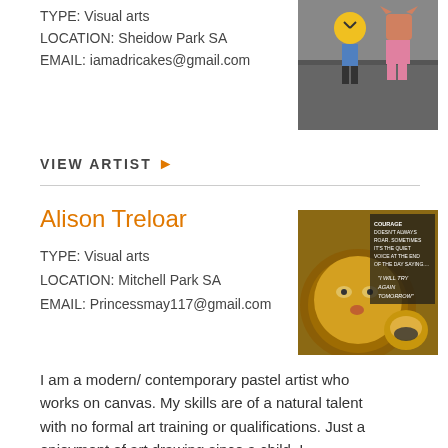TYPE: Visual arts
LOCATION: Sheidow Park SA
EMAIL: iamadricakes@gmail.com
[Figure (photo): Two illustrated characters on a street background]
VIEW ARTIST ▶
Alison Treloar
TYPE: Visual arts
LOCATION: Mitchell Park SA
EMAIL: Princessmay117@gmail.com
[Figure (photo): Painting of a lion with a motivational quote about courage]
I am a modern/ contemporary pastel artist who works on canvas. My skills are of a natural talent with no formal art training or qualifications. Just a enjoyment of art drawing since a child .I